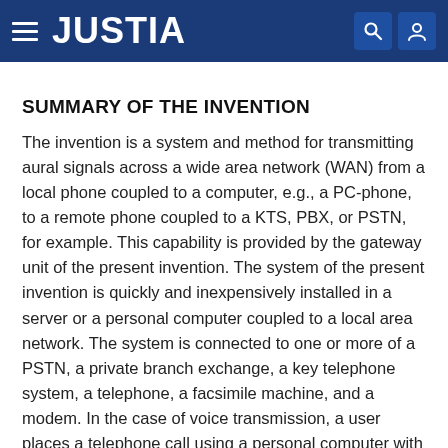JUSTIA
SUMMARY OF THE INVENTION
The invention is a system and method for transmitting aural signals across a wide area network (WAN) from a local phone coupled to a computer, e.g., a PC-phone, to a remote phone coupled to a KTS, PBX, or PSTN, for example. This capability is provided by the gateway unit of the present invention. The system of the present invention is quickly and inexpensively installed in a server or a personal computer coupled to a local area network. The system is connected to one or more of a PSTN, a private branch exchange, a key telephone system, a telephone, a facsimile machine, and a modem. In the case of voice transmission, a user places a telephone call using a personal computer with telephony software and a telephone or a